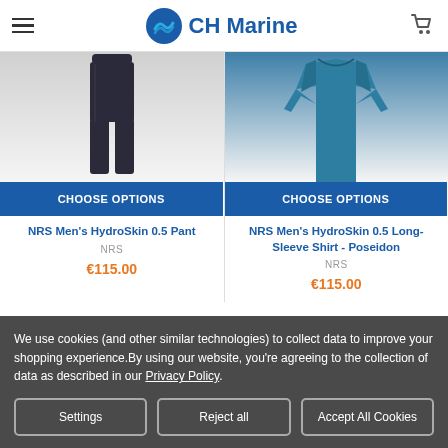CH Marine
[Figure (photo): NRS Men's HydroSkin 0.5 Pant product image showing dark/black pants]
[Figure (photo): NRS Men's HydroSkin 0.5 Long-Sleeve Shirt in Poseidon (teal/blue) color]
CHOOSE OPTIONS
CHOOSE OPTIONS
NRS Men's HydroSkin 0.5 Pant
NRS
€115.00
NRS Men's HydroSkin 0.5 Long-Sleeve Shirt - Poseidon
NRS
€115.00
We use cookies (and other similar technologies) to collect data to improve your shopping experience.By using our website, you're agreeing to the collection of data as described in our Privacy Policy.
Settings
Reject all
Accept All Cookies